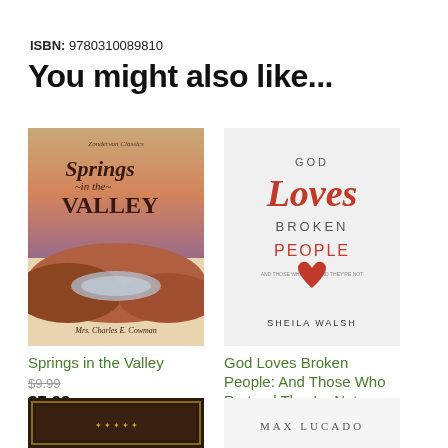ISBN: 9780310089810
You might also like...
[Figure (illustration): Book cover of 'Springs in the Valley' by Mrs. Charles E. Cowman — Zondervon Classics series, showing a desert valley landscape with water pools]
Springs in the Valley
$9.99
$7.99
[Figure (illustration): Book cover of 'God Loves Broken People: And Those Who Pretend They're Not' by Sheila Walsh — white cover with large stylized text and a red heart graphic]
God Loves Broken People: And Those Who Pretend They're Not
$17.99
[Figure (illustration): Partial book cover at bottom left — dark ornate design]
[Figure (illustration): Partial book cover at bottom right — white with 'MAX LUCADO' text]